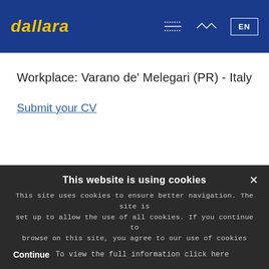dallara EN
Workplace: Varano de' Melegari (PR) - Italy
Submit your CV
This website is using cookies
This site uses cookies to ensure better navigation. The site is set up to allow the use of all cookies. If you continue to browse on this site, you agree to our use of cookies
Continue   To view the full information click here